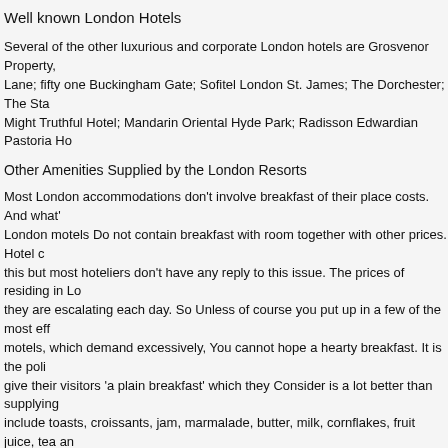Well known London Hotels
Several of the other luxurious and corporate London hotels are Grosvenor Property, Lane; fifty one Buckingham Gate; Sofitel London St. James; The Dorchester; The Sta Might Truthful Hotel; Mandarin Oriental Hyde Park; Radisson Edwardian Pastoria Ho
Other Amenities Supplied by the London Resorts
Most London accommodations don't involve breakfast of their place costs. And what' London motels Do not contain breakfast with room together with other prices. Hotel c this but most hoteliers don't have any reply to this issue. The prices of residing in Lo they are escalating each day. So Unless of course you put up in a few of the most eff motels, which demand excessively, You cannot hope a hearty breakfast. It is the poli give their visitors 'a plain breakfast' which they Consider is a lot better than supplying include toasts, croissants, jam, marmalade, butter, milk, cornflakes, fruit juice, tea an but not satisfactory in case you are considering gorging on grilled bacon, smoked sa fries, jacket potatoes, grilled tomatoes, strawberry cakes, tarts and yogurt. The Londe sumptuous breakfasts for you in the event you pay back that excess volume!
Other than breakfasts, phone charges may also be a bane for most London motels. M interaction amenities in the form of telephones, facsimile devices, personal computer But they charge many occasions the amount essential Even though you make a stra think you may communicate through the telephone from one of several London mote will have to become prepared to be really generous Even when you're not feeling ge